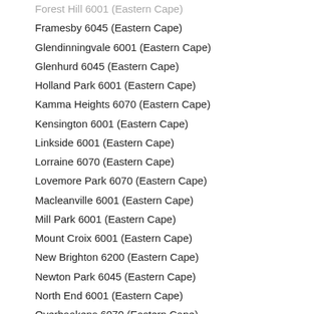Forest Hill 6001 (Eastern Cape)
Framesby 6045 (Eastern Cape)
Glendinningvale 6001 (Eastern Cape)
Glenhurd 6045 (Eastern Cape)
Holland Park 6001 (Eastern Cape)
Kamma Heights 6070 (Eastern Cape)
Kensington 6001 (Eastern Cape)
Linkside 6001 (Eastern Cape)
Lorraine 6070 (Eastern Cape)
Lovemore Park 6070 (Eastern Cape)
Macleanville 6001 (Eastern Cape)
Mill Park 6001 (Eastern Cape)
Mount Croix 6001 (Eastern Cape)
New Brighton 6200 (Eastern Cape)
Newton Park 6045 (Eastern Cape)
North End 6001 (Eastern Cape)
Overbaakens 6070 (Eastern Cape)
Parsons Hill 6001 (Eastern Cape)
Perridgevale 6001 (Eastern Cape)
Port Elizabeth Central 6001 (Eastern Cape)
Richmond Hill 6001 (Eastern Cape)
Sidwell 6001 (Eastern Cape)